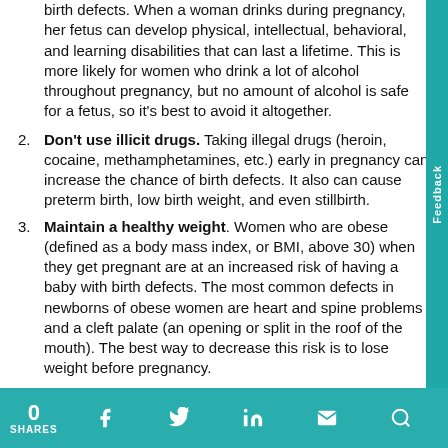birth defects. When a woman drinks during pregnancy, her fetus can develop physical, intellectual, behavioral, and learning disabilities that can last a lifetime. This is more likely for women who drink a lot of alcohol throughout pregnancy, but no amount of alcohol is safe for a fetus, so it's best to avoid it altogether.
2. Don't use illicit drugs. Taking illegal drugs (heroin, cocaine, methamphetamines, etc.) early in pregnancy can increase the chance of birth defects. It also can cause preterm birth, low birth weight, and even stillbirth.
3. Maintain a healthy weight. Women who are obese (defined as a body mass index, or BMI, above 30) when they get pregnant are at an increased risk of having a baby with birth defects. The most common defects in newborns of obese women are heart and spine problems and a cleft palate (an opening or split in the roof of the mouth). The best way to decrease this risk is to lose weight before pregnancy.
4. Take a daily multivitamin with the right amount of folic acid. When women become pregnant, their daily need for vitamins and minerals increases. Almost all prenatal...